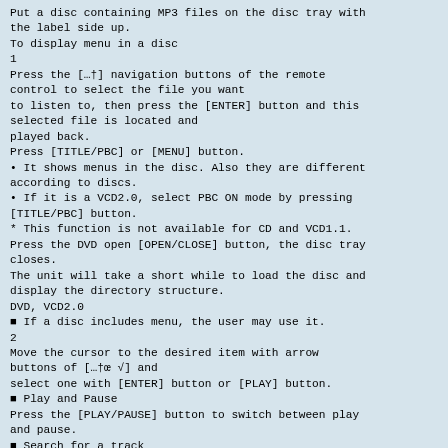Put a disc containing MP3 files on the disc tray with the label side up.
To display menu in a disc
1
Press the […†] navigation buttons of the remote control to select the file you want to listen to, then press the [ENTER] button and this selected file is located and played back.
Press [TITLE/PBC] or [MENU] button.
• It shows menus in the disc. Also they are different according to discs.
• If it is a VCD2.0, select PBC ON mode by pressing [TITLE/PBC] button.
* This function is not available for CD and VCD1.1.
Press the DVD open [OPEN/CLOSE] button, the disc tray closes.
The unit will take a short while to load the disc and display the directory structure.
DVD, VCD2.0
■ If a disc includes menu, the user may use it.
2
Move the cursor to the desired item with arrow buttons of […†œ √] and select one with [ENTER] button or [PLAY] button.
■ Play and Pause
Press the [PLAY/PAUSE] button to switch between play and pause.
■ Search for a track
The [SEARCH] button works on MP3 discs as well as CD audio.
DVD Operation